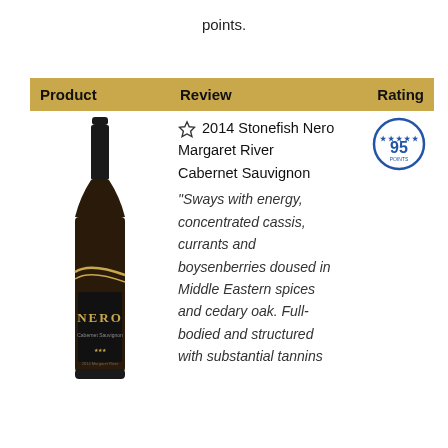points.
| Product | Review | Rating |
| --- | --- | --- |
| [wine bottle image] | ★ 2014 Stonefish Nero Margaret River Cabernet Sauvignon
"Sways with energy, concentrated cassis, currants and boysenberries doused in Middle Eastern spices and cedary oak. Full-bodied and structured with substantial tannins | 95 |